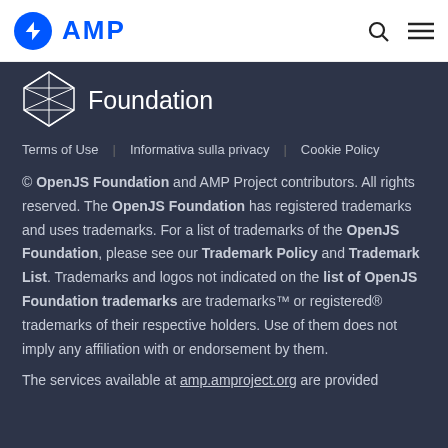AMP
[Figure (logo): OpenJS Foundation logo — geometric diamond/polyhedron outline in white on dark background, with partial text showing 'Foundation']
Terms of Use    Informativa sulla privacy    Cookie Policy
© OpenJS Foundation and AMP Project contributors. All rights reserved. The OpenJS Foundation has registered trademarks and uses trademarks. For a list of trademarks of the OpenJS Foundation, please see our Trademark Policy and Trademark List. Trademarks and logos not indicated on the list of OpenJS Foundation trademarks are trademarks™ or registered® trademarks of their respective holders. Use of them does not imply any affiliation with or endorsement by them.
The services available at amp.amproject.org are provided...